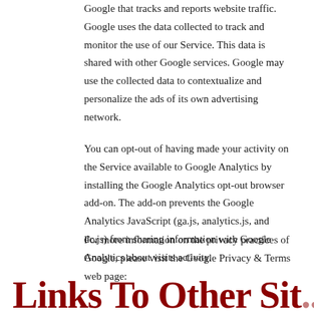Google that tracks and reports website traffic. Google uses the data collected to track and monitor the use of our Service. This data is shared with other Google services. Google may use the collected data to contextualize and personalize the ads of its own advertising network.
You can opt-out of having made your activity on the Service available to Google Analytics by installing the Google Analytics opt-out browser add-on. The add-on prevents the Google Analytics JavaScript (ga.js, analytics.js, and dc.js) from sharing information with Google Analytics about visits activity.
For more information on the privacy practices of Google, please visit the Google Privacy & Terms web page:
Links To Other Sit...